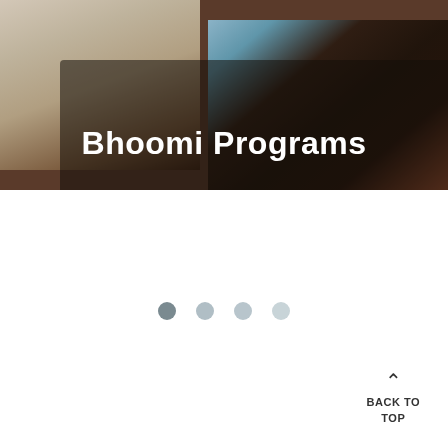[Figure (photo): Hero image showing people sitting on the floor, one in a white patterned dress on the left, one in a dark dotted outfit in the center-right, and a person in light blue top on the far right. A semi-transparent dark overlay covers the center-right portion of the image.]
Bhoomi Programs
[Figure (other): Pagination indicator with 4 dots: first dot is darker (active), remaining three dots are progressively lighter (inactive).]
BACK TO TOP